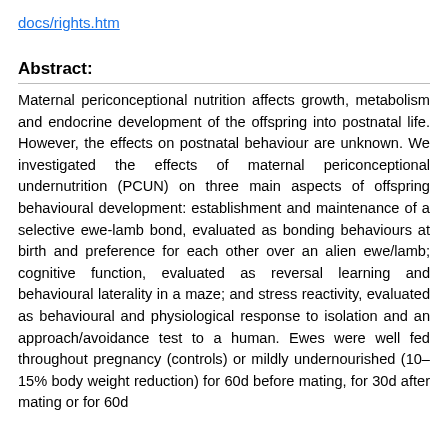docs/rights.htm
Abstract:
Maternal periconceptional nutrition affects growth, metabolism and endocrine development of the offspring into postnatal life. However, the effects on postnatal behaviour are unknown. We investigated the effects of maternal periconceptional undernutrition (PCUN) on three main aspects of offspring behavioural development: establishment and maintenance of a selective ewe-lamb bond, evaluated as bonding behaviours at birth and preference for each other over an alien ewe/lamb; cognitive function, evaluated as reversal learning and behavioural laterality in a maze; and stress reactivity, evaluated as behavioural and physiological response to isolation and an approach/avoidance test to a human. Ewes were well fed throughout pregnancy (controls) or mildly undernourished (10–15% body weight reduction) for 60d before mating, for 30d after mating or for 60d